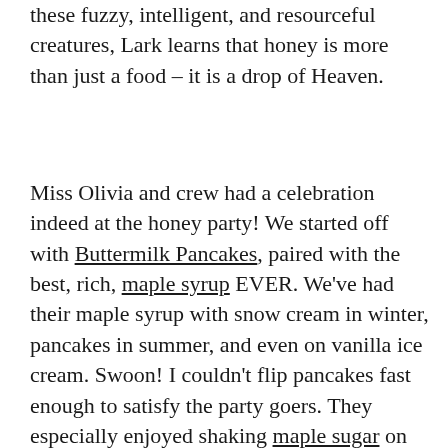these fuzzy, intelligent, and resourceful creatures, Lark learns that honey is more than just a food – it is a drop of Heaven.
Miss Olivia and crew had a celebration indeed at the honey party! We started off with Buttermilk Pancakes, paired with the best, rich, maple syrup EVER. We've had their maple syrup with snow cream in winter, pancakes in summer, and even on vanilla ice cream. Swoon! I couldn't flip pancakes fast enough to satisfy the party goers. They especially enjoyed shaking maple sugar on top. I had never tried maple sugar before and let me tell you, it smells like toasted marshmallows and tastes divine on whipped cream in a morning cup of coffee! It is also delicious on popcorn and sweet potatoes!